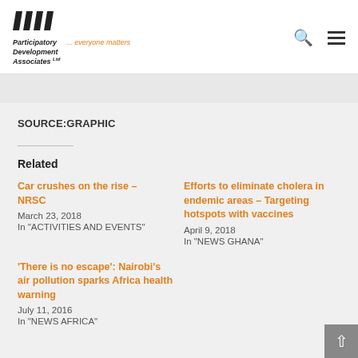[Figure (logo): Participatory Development Associates Ltd logo with stripe marks and tagline '... everyone matters']
SOURCE:GRAPHIC
Related
Car crushes on the rise – NRSC
March 23, 2018
In "ACTIVITIES AND EVENTS"
Efforts to eliminate cholera in endemic areas – Targeting hotspots with vaccines
April 9, 2018
In "NEWS GHANA"
'There is no escape': Nairobi's air pollution sparks Africa health warning
July 11, 2016
In "NEWS AFRICA"